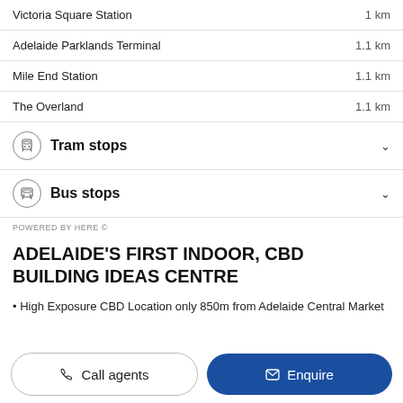Victoria Square Station — 1 km
Adelaide Parklands Terminal — 1.1 km
Mile End Station — 1.1 km
The Overland — 1.1 km
Tram stops
Bus stops
POWERED BY HERE ©
ADELAIDE'S FIRST INDOOR, CBD BUILDING IDEAS CENTRE
• High Exposure CBD Location only 850m from Adelaide Central Market